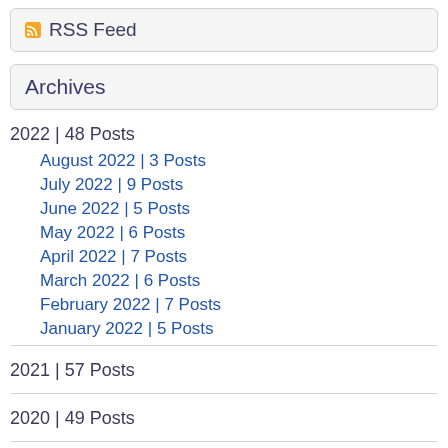RSS Feed
Archives
2022 | 48 Posts
August 2022 | 3 Posts
July 2022 | 9 Posts
June 2022 | 5 Posts
May 2022 | 6 Posts
April 2022 | 7 Posts
March 2022 | 6 Posts
February 2022 | 7 Posts
January 2022 | 5 Posts
2021 | 57 Posts
2020 | 49 Posts
2019 | 9 Posts